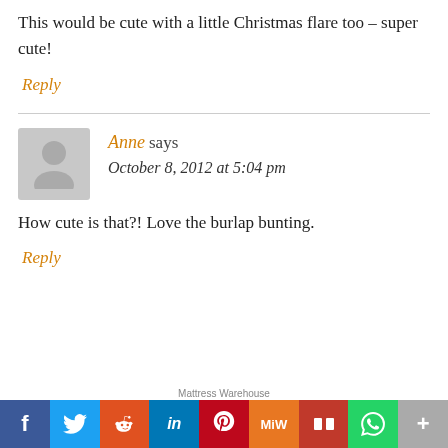This would be cute with a little Christmas flare too – super cute!
Reply
Anne says
October 8, 2012 at 5:04 pm
How cute is that?! Love the burlap bunting.
Reply